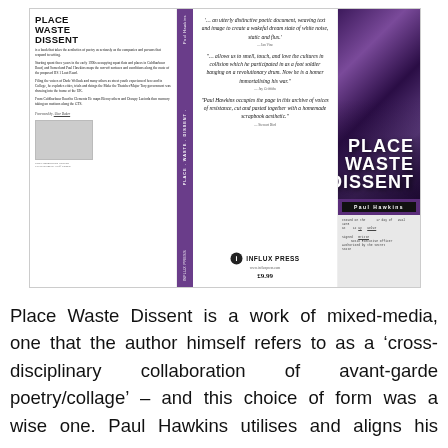[Figure (illustration): Book cover spread for 'Place Waste Dissent' by Paul Hawkins, published by Influx Press. Shows back cover with title, blurbs and small image; spine in purple; front cover with a purple-tinted street photograph and bold white title text. Middle panel shows review quotes and Influx Press logo with price £9.99.]
Place Waste Dissent is a work of mixed-media, one that the author himself refers to as a 'cross-disciplinary collaboration of avant-garde poetry/collage' – and this choice of form was a wise one. Paul Hawkins utilises and aligns his source